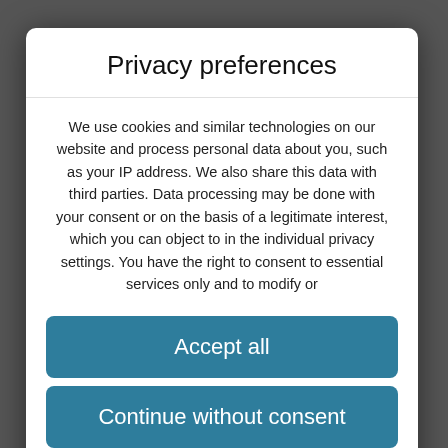Privacy preferences
We use cookies and similar technologies on our website and process personal data about you, such as your IP address. We also share this data with third parties. Data processing may be done with your consent or on the basis of a legitimate interest, which you can object to in the individual privacy settings. You have the right to consent to essential services only and to modify or
Accept all
Continue without consent
Individual privacy preferences
Privacy policy
WordPress Cookie Plugin by Real Cookie Banner